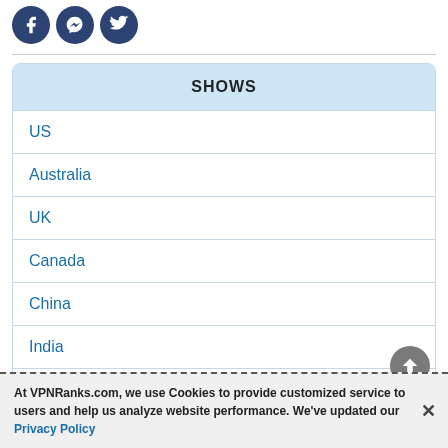[Figure (illustration): Three circular social media icons: Facebook, Messenger, Twitter on dark blue background]
| SHOWS |
| --- |
| US |
| Australia |
| UK |
| Canada |
| China |
| India |
| Spain |
At VPNRanks.com, we use Cookies to provide customized service to users and help us analyze website performance. We've updated our Privacy Policy